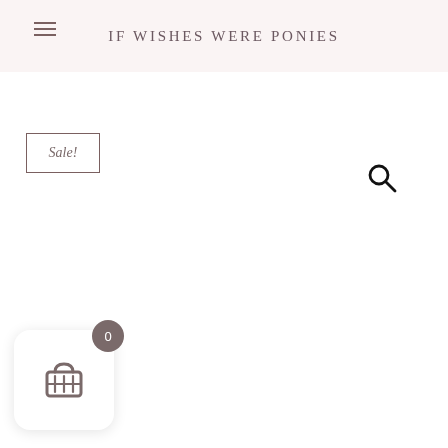IF WISHES WERE PONIES
Sale!
[Figure (screenshot): Shopping cart widget with badge showing 0 items]
[Figure (other): Search/magnifying glass icon]